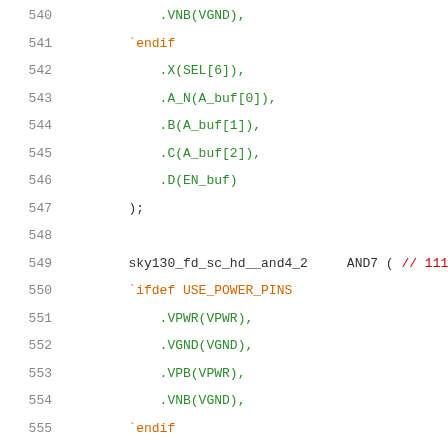Code listing lines 540-560: Verilog HDL instantiation code for sky130_fd_sc_hd__and4_2 cells with power pins and port connections
540    .VNB(VGND),
541    `endif
542    .X(SEL[6]),
543    .A_N(A_buf[0]),
544    .B(A_buf[1]),
545    .C(A_buf[2]),
546    .D(EN_buf)
547    );
548
549    sky130_fd_sc_hd__and4_2    AND7 ( // 111
550    `ifdef USE_POWER_PINS
551    .VPWR(VPWR),
552    .VGND(VGND),
553    .VPB(VPWR),
554    .VNB(VGND),
555    `endif
556    .X(SEL[7]),
557    .A(A_buf[0]),
558    .B(A_buf[1]),
559    .C(A_buf[2]),
560    .D(EN_buf)